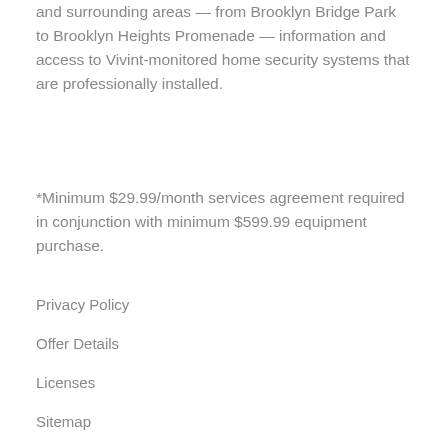and surrounding areas — from Brooklyn Bridge Park to Brooklyn Heights Promenade — information and access to Vivint-monitored home security systems that are professionally installed.
*Minimum $29.99/month services agreement required in conjunction with minimum $599.99 equipment purchase.
Privacy Policy
Offer Details
Licenses
Sitemap
© 2022 Vivint